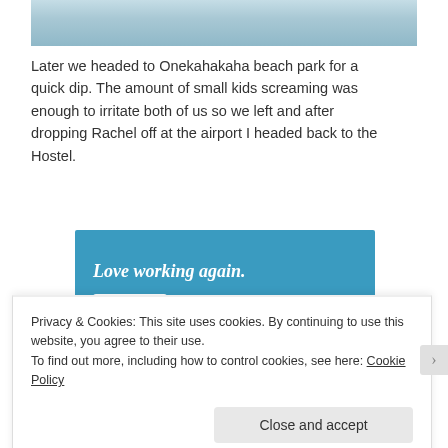[Figure (photo): Partial photo of water/pool scene with a person, cropped at the top of the page]
Later we headed to Onekahakaha beach park for a quick dip. The amount of small kids screaming was enough to irritate both of us so we left and after dropping Rachel off at the airport I headed back to the Hostel.
[Figure (other): Advertisement banner with blue background showing 'Love working again.' text and an Apply button]
Privacy & Cookies: This site uses cookies. By continuing to use this website, you agree to their use.
To find out more, including how to control cookies, see here: Cookie Policy
Close and accept